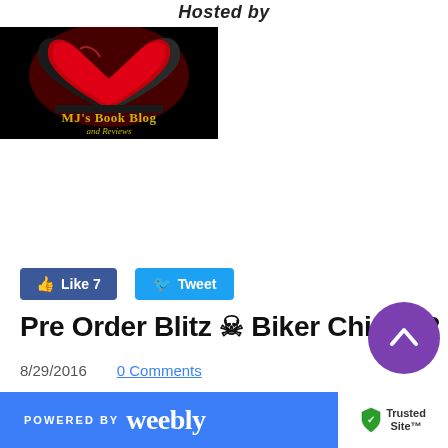Hosted by
[Figure (logo): MJ's Book Blog and Reviews logo — black background with red heart made from book pages, yellow text overlay reading 'MJ's Book Blog and Reviews']
[Figure (screenshot): Facebook Like button showing count 7, and Twitter Tweet button]
Pre Order Blitz 💀 Biker Chicks 2
8/29/2016    0 Comments
POWERED BY weebly   TrustedSite